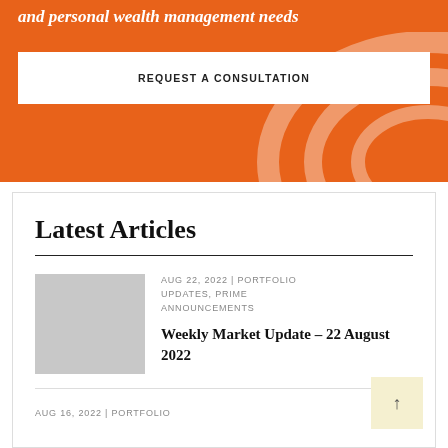and personal wealth management needs
REQUEST A CONSULTATION
Latest Articles
AUG 22, 2022 | PORTFOLIO UPDATES, PRIME ANNOUNCEMENTS
Weekly Market Update – 22 August 2022
AUG 16, 2022 | PORTFOLIO